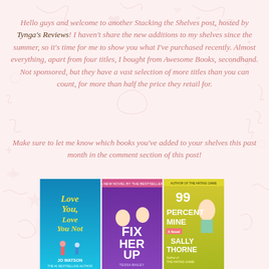Hello guys and welcome to another Stacking the Shelves post, hosted by Tynga's Reviews! I haven't share the new additions to my shelves since the summer, so it's time for me to show you what I've purchased recently. Almost everything, apart from four titles, I bought from Awesome Books, secondhand. Not sponsored, but they have a vast selection of more titles than you can count, for more than half the price they retail for.
Make sure to let me know which books you've added to your shelves this past month in the comment section of this post!
[Figure (photo): Three book covers shown side by side: 'Love You, Love You Not' by Jo Watson (blue cover), 'Fix Her Up' by Tessa Bailey (purple cover), and '99 Percent Mine' by Sally Thorne (yellow/green cover)]